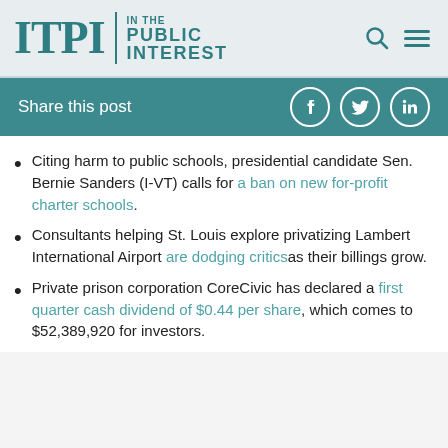ITPI | IN THE PUBLIC INTEREST
Share this post
Citing harm to public schools, presidential candidate Sen. Bernie Sanders (I-VT) calls for a ban on new for-profit charter schools.
Consultants helping St. Louis explore privatizing Lambert International Airport are dodging critics as their billings grow.
Private prison corporation CoreCivic has declared a first quarter cash dividend of $0.44 per share, which comes to $52,389,920 for investors.